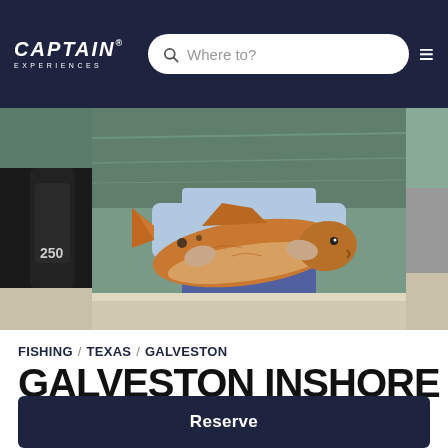CAPTAIN EXPERIENCES — navigation bar with search
[Figure (photo): Person on a boat holding a large redfish (red drum), motor labeled 250 visible on left, water in background]
FISHING / TEXAS / GALVESTON
GALVESTON INSHORE – 25' BOSTON WHALER
Reserve